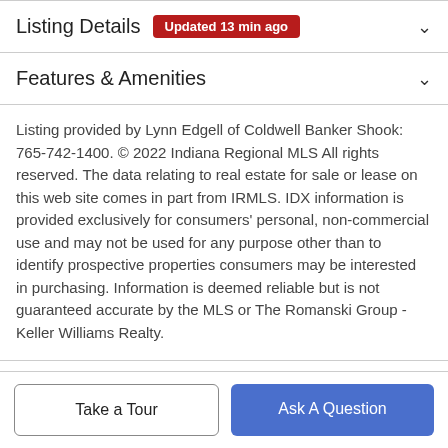Listing Details  Updated 13 min ago
Features & Amenities
Listing provided by Lynn Edgell of Coldwell Banker Shook: 765-742-1400. © 2022 Indiana Regional MLS All rights reserved. The data relating to real estate for sale or lease on this web site comes in part from IRMLS. IDX information is provided exclusively for consumers' personal, non-commercial use and may not be used for any purpose other than to identify prospective properties consumers may be interested in purchasing. Information is deemed reliable but is not guaranteed accurate by the MLS or The Romanski Group - Keller Williams Realty.
Schools
Take a Tour
Ask A Question